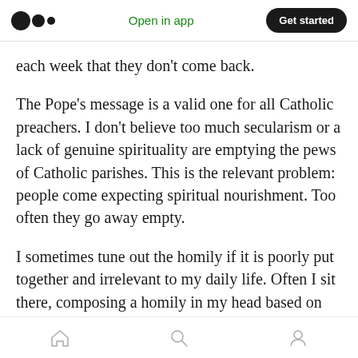Open in app  Get started
each week that they don’t come back.
The Pope’s message is a valid one for all Catholic preachers. I don’t believe too much secularism or a lack of genuine spirituality are emptying the pews of Catholic parishes. This is the relevant problem: people come expecting spiritual nourishment. Too often they go away empty.
I sometimes tune out the homily if it is poorly put together and irrelevant to my daily life. Often I sit there, composing a homily in my head based on the day’s gospel. Many celebrants start out